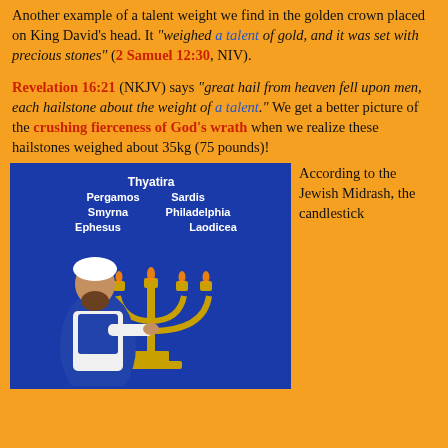Another example of a talent weight we find in the golden crown placed on King David's head. It “weighed a talent of gold, and it was set with precious stones” (2 Samuel 12:30, NIV).
Revelation 16:21 (NKJV) says “great hail from heaven fell upon men, each hailstone about the weight of a talent.” We get a better picture of the crushing fierceness of God’s wrath when we realize these hailstones weighed about 35kg (75 pounds)!
[Figure (photo): A man dressed as a Jewish priest/high priest tending a golden menorah (seven-branched candlestick). The image has a blue background and white text labels naming seven churches: Thyatira, Pergamos, Sardis, Smyrna, Philadelphia, Ephesus, Laodicea.]
According to the Jewish Midrash, the candlestick